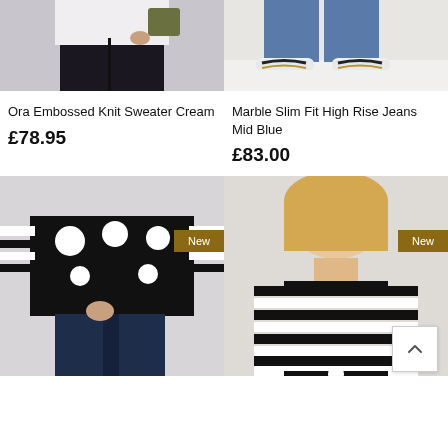[Figure (photo): Cropped photo of a person wearing dark wide-leg trousers and a white top, holding an olive bag]
[Figure (photo): Cropped photo showing legs in blue jeans with white and gold sneakers on a light background]
Ora Embossed Knit Sweater Cream
£78.95
Marble Slim Fit High Rise Jeans Mid Blue
£83.00
[Figure (photo): Full-body photo of a woman wearing a black sweater with white polka dots and dark jeans, 'New' badge overlay]
[Figure (photo): Upper-body photo of a woman wearing a black and white striped top, 'New' badge overlay, scroll-to-top button visible]